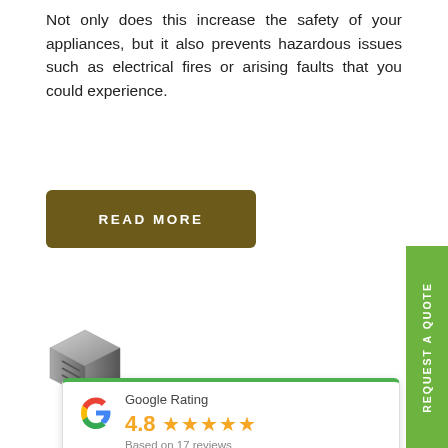Not only does this increase the safety of your appliances, but it also prevents hazardous issues such as electrical fires or arising faults that you could experience.
[Figure (other): Brown rounded rectangle button with white bold text reading READ MORE]
[Figure (other): Green vertical sidebar button with white rotated text reading REQUEST A QUOTE]
[Figure (logo): Metallic 3D cube/box logo icon for an electrical company]
[Figure (other): Google Rating card showing 4.8 stars based on 17 reviews with Google G logo]
E
A... the electrical sector, our experienced electricians in Barnsley are qualified to carry out el... or properties in Barnsley. W... r industrial workspace in Barnsley, ranging from alarm systems to emergency lighting, we'll help keep you safe and secure with our Barnsley team.
[Figure (other): Facebook Rating card showing Facebook icon and empty star rating]